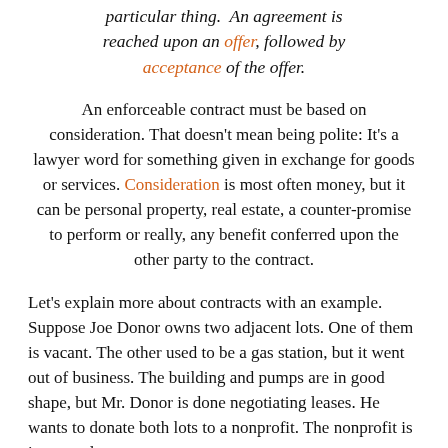particular thing.  An agreement is reached upon an offer, followed by acceptance of the offer.
An enforceable contract must be based on consideration. That doesn't mean being polite: It's a lawyer word for something given in exchange for goods or services. Consideration is most often money, but it can be personal property, real estate, a counter-promise to perform or really, any benefit conferred upon the other party to the contract.
Let's explain more about contracts with an example. Suppose Joe Donor owns two adjacent lots. One of them is vacant. The other used to be a gas station, but it went out of business. The building and pumps are in good shape, but Mr. Donor is done negotiating leases. He wants to donate both lots to a nonprofit. The nonprofit is interested...